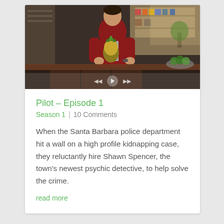[Figure (screenshot): Video thumbnail showing a man in a red jacket holding a pineapple in a kitchen, with video playback controls visible at the bottom]
Pilot – Episode 1
Season 1  |  10 Comments
When the Santa Barbara police department hit a wall on a high profile kidnapping case, they reluctantly hire Shawn Spencer, the town's newest psychic detective, to help solve the crime.
read more